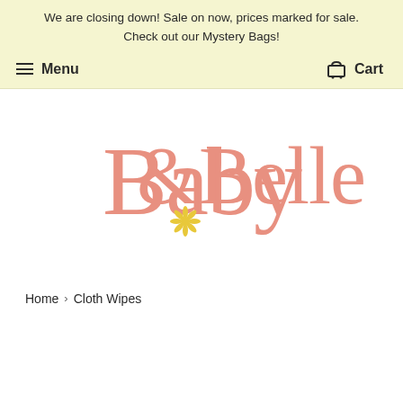We are closing down! Sale on now, prices marked for sale. Check out our Mystery Bags!
Menu  Cart
[Figure (logo): Baby & Belle cursive script logo in salmon/coral pink with a yellow daisy flower accent between the two words]
Home › Cloth Wipes